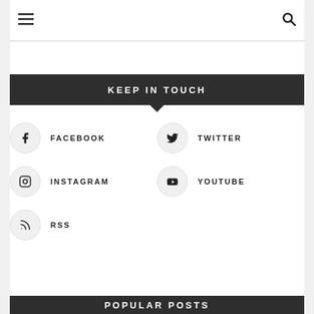≡  🔍
KEEP IN TOUCH
FACEBOOK
TWITTER
INSTAGRAM
YOUTUBE
RSS
POPULAR POSTS